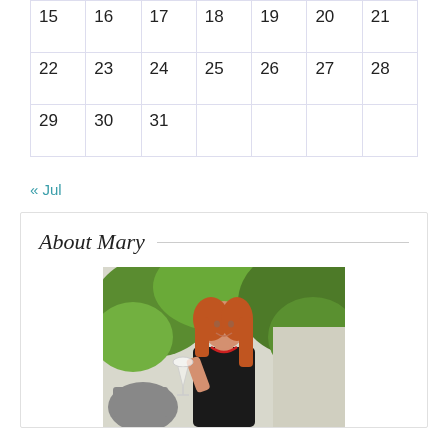| 15 | 16 | 17 | 18 | 19 | 20 | 21 |
| 22 | 23 | 24 | 25 | 26 | 27 | 28 |
| 29 | 30 | 31 |  |  |  |  |
« Jul
About Mary
[Figure (photo): A red-haired woman in a black dress holding up a wine glass, standing in front of green foliage and a stone planter, smiling at the camera.]